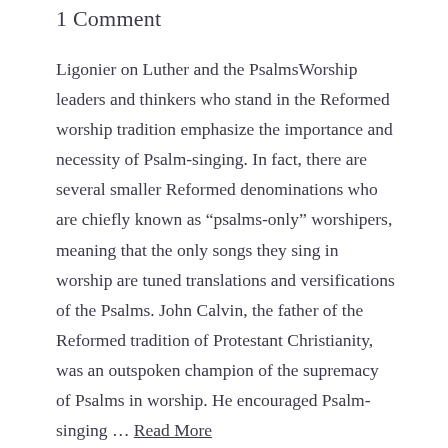1 Comment
Ligonier on Luther and the PsalmsWorship leaders and thinkers who stand in the Reformed worship tradition emphasize the importance and necessity of Psalm-singing. In fact, there are several smaller Reformed denominations who are chiefly known as “psalms-only” worshipers, meaning that the only songs they sing in worship are tuned translations and versifications of the Psalms. John Calvin, the father of the Reformed tradition of Protestant Christianity, was an outspoken champion of the supremacy of Psalms in worship. He encouraged Psalm-singing … Read More